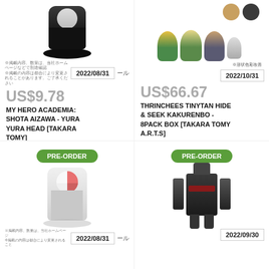[Figure (photo): My Hero Academia Shota Aizawa Yura Yura Head bobble figure in black outfit on dark round base]
2022/08/31
US$9.78
MY HERO ACADEMIA: SHOTA AIZAWA - YURA YURA HEAD [TAKARA TOMY]
[Figure (photo): TinyTAN Hide and Seek Kakurenbo 8pack box figures, multiple chibi characters with donuts]
2022/10/31
US$66.67
THRINCHEES TINYTAN HIDE & SEEK KAKURENBO - 8PACK BOX [TAKARA TOMY A.R.T.S]
[Figure (photo): My Hero Academia Todoroki Shoto Yura Yura Head bobble figure with PRE-ORDER badge]
PRE-ORDER
2022/08/31
[Figure (photo): Large robot/mecha transformer figure with PRE-ORDER badge]
PRE-ORDER
2022/09/30